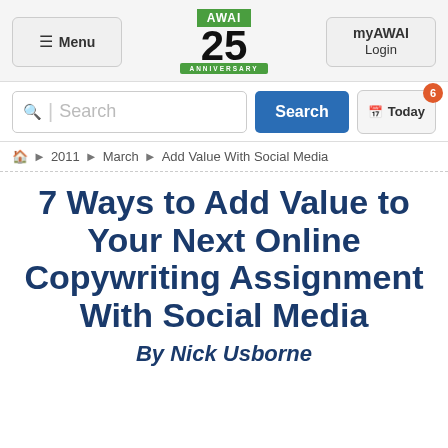Menu | AWAI 25 ANNIVERSARY | myAWAI Login
Search | Today 6
🏠 ▶ 2011 ▶ March ▶ Add Value With Social Media
7 Ways to Add Value to Your Next Online Copywriting Assignment With Social Media
By Nick Usborne